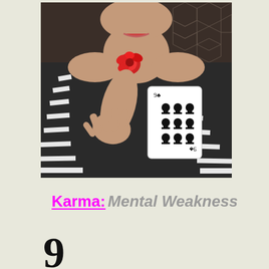[Figure (photo): A person wearing a black and white striped outfit with a red flower at the collar, holding up a playing card (9 of clubs) while reaching out a hand toward the camera, against a dark background.]
Karma: Mental Weakness
9